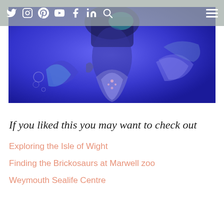Twitter Instagram Pinterest YouTube Facebook LinkedIn Search
[Figure (photo): Blue-tinted underwater or aquarium scene photo showing a mermaid-like figure with fish-tail elements against a bright blue background]
If you liked this you may want to check out
Exploring the Isle of Wight
Finding the Brickosaurs at Marwell zoo
Weymouth Sealife Centre